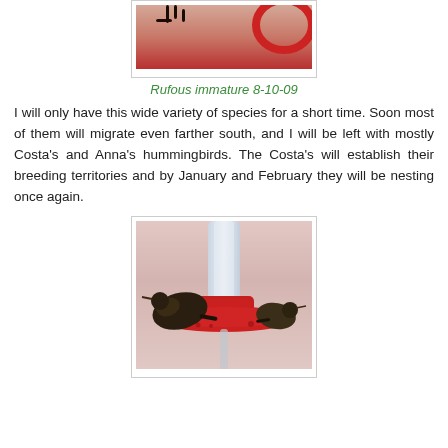[Figure (photo): Close-up photo of a hummingbird (Rufous immature) at a red feeder, cropped showing mainly the feeder's red ring and pinkish background]
Rufous immature 8-10-09
I will only have this wide variety of species for a short time. Soon most of them will migrate even farther south, and I will be left with mostly Costa's and Anna's hummingbirds. The Costa's will establish their breeding territories and by January and February they will be nesting once again.
[Figure (photo): Photo of multiple hummingbirds perched on a red circular feeder with a clear bottle, pink background]